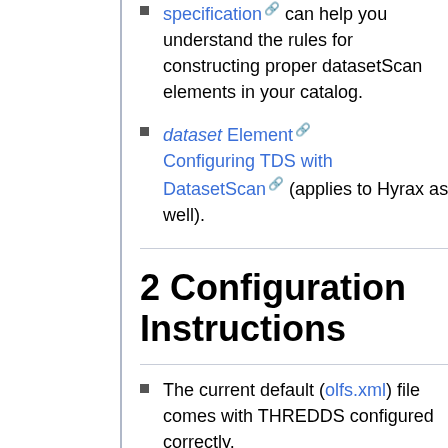specification can help you understand the rules for constructing proper datasetScan elements in your catalog.
dataset Element Configuring TDS with DatasetScan (applies to Hyrax as well).
2 Configuration Instructions
The current default (olfs.xml) file comes with THREDDS configured correctly.